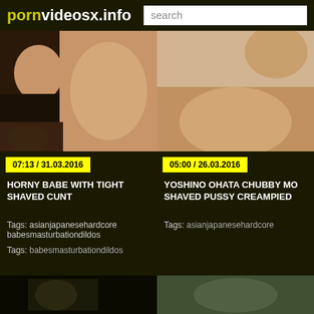pornvideosx.info | search
[Figure (photo): Video thumbnail - left card, adult content video still]
07:13 / 31.03.2016
HORNY BABE WITH TIGHT SHAVED CUNT
Tags: babesmasturbationdildos
[Figure (photo): Video thumbnail - right card, adult content video still]
05:00 / 26.03.2016
YOSHINO OHATA CHUBBY MO SHAVED PUSSY CREAMPIED
Tags: asianjapanesehardcore
[Figure (photo): Bottom left partial video thumbnail]
[Figure (photo): Bottom right partial video thumbnail]